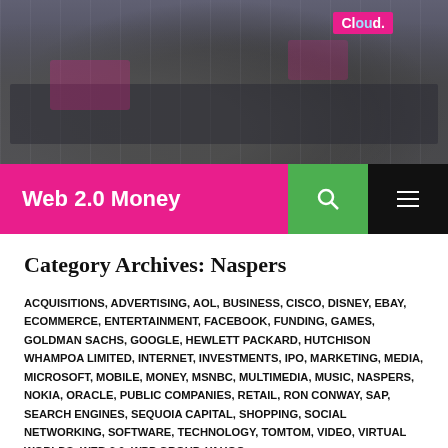[Figure (photo): Header photo of a crowded tech conference or trade show floor with people, screens, and pink/magenta branded signage including a cloud sign.]
Web 2.0 Money
Category Archives: Naspers
ACQUISITIONS, ADVERTISING, AOL, BUSINESS, CISCO, DISNEY, EBAY, ECOMMERCE, ENTERTAINMENT, FACEBOOK, FUNDING, GAMES, GOLDMAN SACHS, GOOGLE, HEWLETT PACKARD, HUTCHISON WHAMPOA LIMITED, INTERNET, INVESTMENTS, IPO, MARKETING, MEDIA, MICROSOFT, MOBILE, MONEY, MSNBC, MULTIMEDIA, MUSIC, NASPERS, NOKIA, ORACLE, PUBLIC COMPANIES, RETAIL, RON CONWAY, SAP, SEARCH ENGINES, SEQUOIA CAPITAL, SHOPPING, SOCIAL NETWORKING, SOFTWARE, TECHNOLOGY, TOMTOM, VIDEO, VIRTUAL WORLDS, WEB 2.0, WPP GROUP, YAHOO
SOME OF THE WEB'S